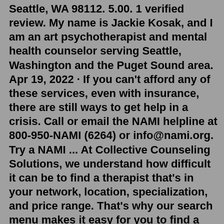Seattle, WA 98112. 5.00. 1 verified review. My name is Jackie Kosak, and I am an art psychotherapist and mental health counselor serving Seattle, Washington and the Puget Sound area. Apr 19, 2022 · If you can't afford any of these services, even with insurance, there are still ways to get help in a crisis. Call or email the NAMI helpline at 800-950-NAMI (6264) or info@nami.org. Try a NAMI ... At Collective Counseling Solutions, we understand how difficult it can be to find a therapist that's in your network, location, specialization, and price range. That's why our search menu makes it easy for you to find a therapist near you to get the guidance and support you need. When looking for a therapist that takes insurance in your ...Get information about Dr. Christopher T. Rainville MD, a psychiatrist in Spokane, WA. Learn more about his background, insurance he accepts, issues he treats, and procedures on CareDash.The John F. Barnes Myofascial Release Directory is a resource for people looking for highly